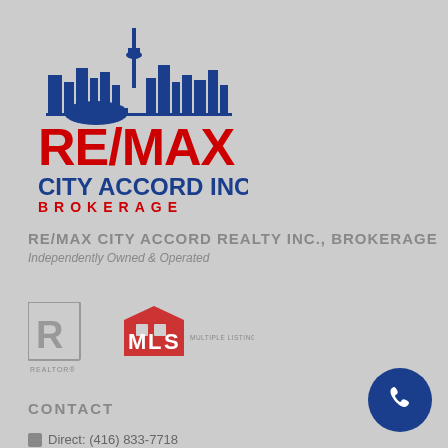[Figure (logo): RE/MAX City Accord Inc. Brokerage logo with Toronto skyline silhouette above red RE/MAX text and blue CITY ACCORD INC. BROKERAGE text, with tagline Independently Owned & Operated]
RE/MAX CITY ACCORD REALTY INC., BROKERAGE
Independently Owned & Operated
[Figure (logo): REALTOR logo (stylized R in a box)]
[Figure (logo): MLS MULTIPLE LISTING SERVICE logo (house shape with M, L, S letters)]
CONTACT
Direct: (416) 833-7718